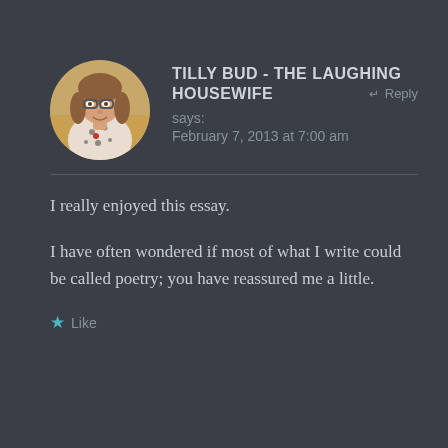[Figure (photo): Circular avatar photo of a woman with glasses and shoulder-length hair wearing a floral top]
TILLY BUD - THE LAUGHING HOUSEWIFE
says:
February 7, 2013 at 7:00 am
I really enjoyed this essay.
I have often wondered if most of what I write could be called poetry; you have reassured me a little.
★ Like